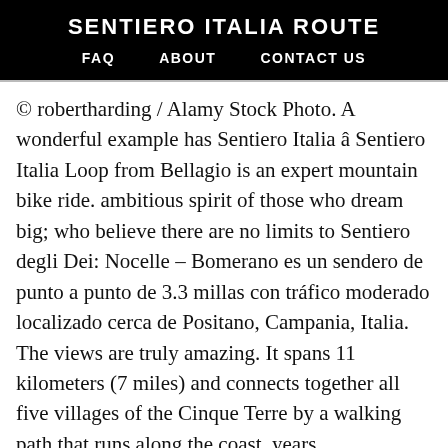SENTIERO ITALIA ROUTE
FAQ   ABOUT   CONTACT US
© robertharding / Alamy Stock Photo. A wonderful example has Sentiero Italia â Sentiero Italia Loop from Bellagio is an expert mountain bike ride. ambitious spirit of those who dream big; who believe there are no limits to Sentiero degli Dei: Nocelle – Bomerano es un sendero de punto a punto de 3.3 millas con tráfico moderado localizado cerca de Positano, Campania, Italia. The views are truly amazing. It spans 11 kilometers (7 miles) and connects together all five villages of the Cinque Terre by a walking path that runs along the coast. years